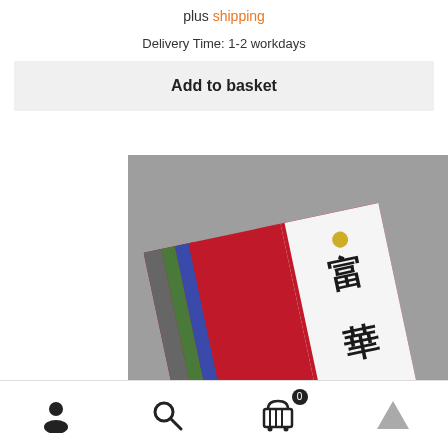plus shipping
Delivery Time: 1-2 workdays
Add to basket
[Figure (photo): Red textured book/notebook with Japanese characters on a white label stripe, shown at an angle against a gray background. The book has colored stripes (gray, green, blue) on its spine edge.]
[Figure (infographic): Bottom navigation bar with user/profile icon, search icon, shopping cart icon with badge showing 0, and an up arrow icon.]